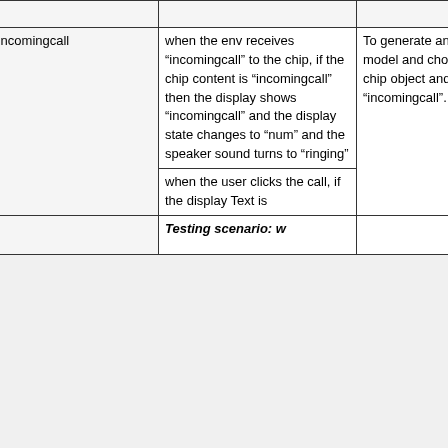|  |  |  |
| --- | --- | --- |
|  |  |  |
| Incomingcall | when the env receives "incomingcall" to the chip, if the chip content is "incomingcall" then the display shows "incomingcall" and the display state changes to "num" and the speaker sound turns to "ringing" | To generate an external event from the Env, right-click the Env object in the system model and choose 'call object'. After that right-click the receive method of the chip object and choose 'send message'. When prompted, provide the argument "incomingcall". |
|  | when the user clicks the call, if the display Text is | Testing scenario: w... |